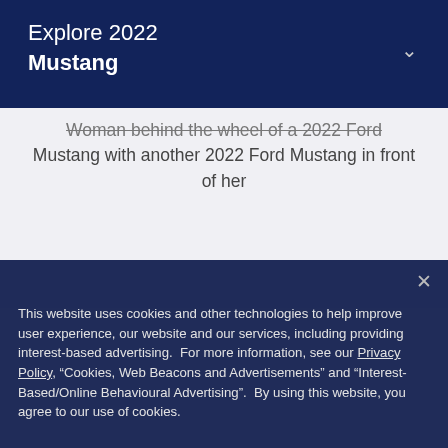Explore 2022 Mustang
Woman behind the wheel of a 2022 Ford Mustang with another 2022 Ford Mustang in front of her
This website uses cookies and other technologies to help improve user experience, our website and our services, including providing interest-based advertising. For more information, see our Privacy Policy, “Cookies, Web Beacons and Advertisements” and “Interest-Based/Online Behavioural Advertising”. By using this website, you agree to our use of cookies.